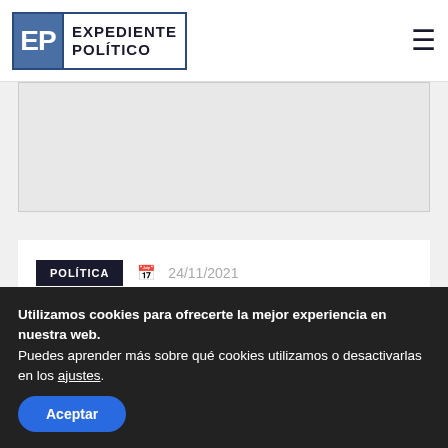Expediente Político
[Figure (other): Advertisement banner area]
POLÍTICA  24/11/2021
Morales sumó una gira internacional pensando en 2023
Utilizamos cookies para ofrecerte la mejor experiencia en nuestra web.
Puedes aprender más sobre qué cookies utilizamos o desactivarlas en los ajustes.
Aceptar